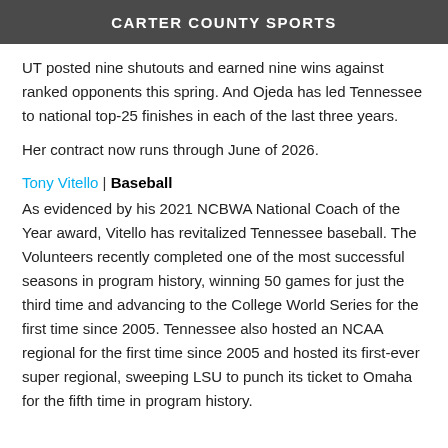CARTER COUNTY SPORTS
UT posted nine shutouts and earned nine wins against ranked opponents this spring. And Ojeda has led Tennessee to national top-25 finishes in each of the last three years.
Her contract now runs through June of 2026.
Tony Vitello | Baseball
As evidenced by his 2021 NCBWA National Coach of the Year award, Vitello has revitalized Tennessee baseball. The Volunteers recently completed one of the most successful seasons in program history, winning 50 games for just the third time and advancing to the College World Series for the first time since 2005. Tennessee also hosted an NCAA regional for the first time since 2005 and hosted its first-ever super regional, sweeping LSU to punch its ticket to Omaha for the fifth time in program history.